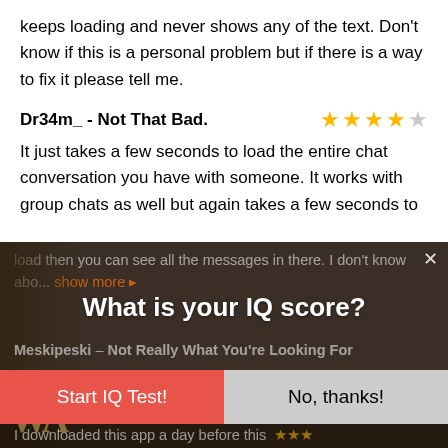keeps loading and never shows any of the text. Don't know if this is a personal problem but if there is a way to fix it please tell me.
Dr34m_ - Not That Bad.
It just takes a few seconds to load the entire chat conversation you have with someone. It works with group chats as well but again takes a few seconds to
[Figure (screenshot): A popup advertisement overlay on top of a mobile app review page. The popup has a dark wood-textured background showing letter tiles. A white 'X' close button is in the top right. The popup displays 'What is your IQ score?' in bold white text. Below are two buttons: a red 'Start IQ Test!' button on the left and a gray 'No, thanks!' button on the right. Partially visible behind and around the popup is more review text including 'Meskipeski - Not Really What You're Looking For' and additional review content.]